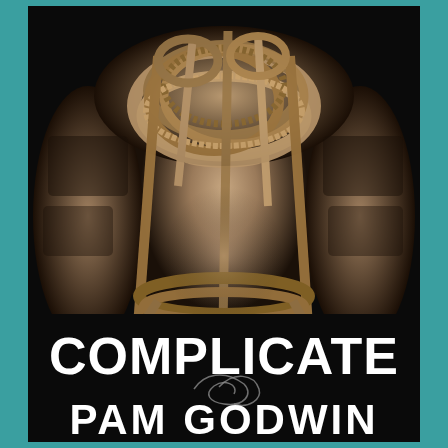[Figure (photo): Book cover for 'Complicate' by Pam Godwin. A shirtless tattooed muscular man with ropes wrapped around his torso and obscuring his face. Dark moody black background. Teal/turquoise border surrounds the cover.]
COMPLICATE
PAM GODWIN